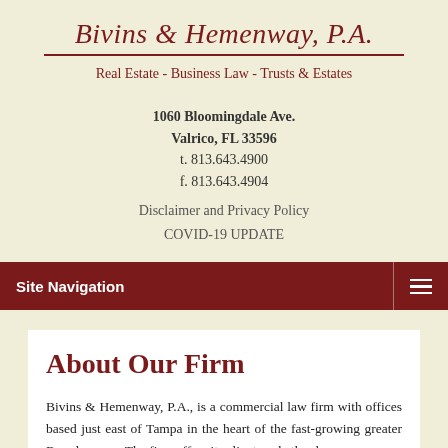Bivins & Hemenway, P.A.
Real Estate - Business Law - Trusts & Estates
1060 Bloomingdale Ave.
Valrico, FL 33596
t. 813.643.4900
f. 813.643.4904
Disclaimer and Privacy Policy
COVID-19 UPDATE
Site Navigation
About Our Firm
Bivins & Hemenway, P.A., is a commercial law firm with offices based just east of Tampa in the heart of the fast-growing greater Brandon area. The firm offers its clients, whether large